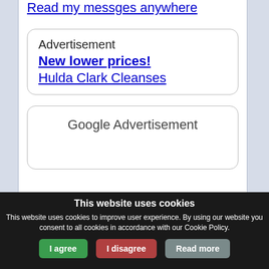Read my messges anywhere
Advertisement
New lower prices!
Hulda Clark Cleanses
Google Advertisement
This website uses cookies
This website uses cookies to improve user experience. By using our website you consent to all cookies in accordance with our Cookie Policy.
I agree
I disagree
Read more